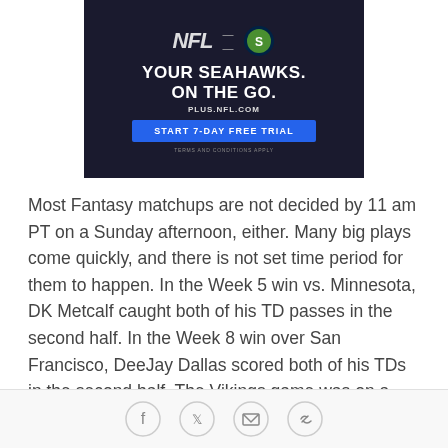[Figure (screenshot): NFL advertisement banner with dark background showing 'YOUR SEAHAWKS. ON THE GO.' text, PLUS.NFL.COM URL, and a blue 'START 7-DAY FREE TRIAL' button with terms and conditions note.]
Most Fantasy matchups are not decided by 11 am PT on a Sunday afternoon, either. Many big plays come quickly, and there is not set time period for them to happen. In the Week 5 win vs. Minnesota, DK Metcalf caught both of his TD passes in the second half. In the Week 8 win over San Francisco, DeeJay Dallas scored both of his TDs in the second half. The Vikings game was on a Sunday night and the 49ers game was after
Social share icons: Facebook, Twitter, Email, Link